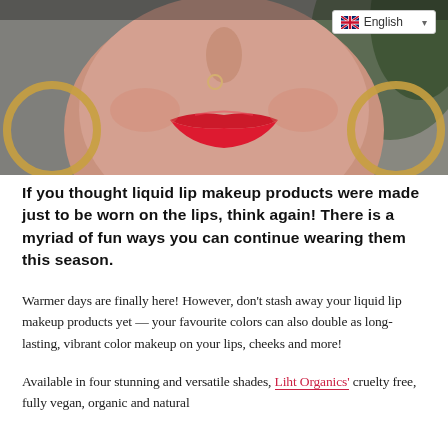[Figure (photo): Close-up photo of a woman's face showing her nose and lips with bright red lipstick, wearing large gold hoop earrings, with a language selector (English) in the top right corner]
If you thought liquid lip makeup products were made just to be worn on the lips, think again! There is a myriad of fun ways you can continue wearing them this season.
Warmer days are finally here! However, don't stash away your liquid lip makeup products yet — your favourite colors can also double as long-lasting, vibrant color makeup on your lips, cheeks and more!
Available in four stunning and versatile shades, Liht Organics' cruelty free, fully vegan, organic and natural